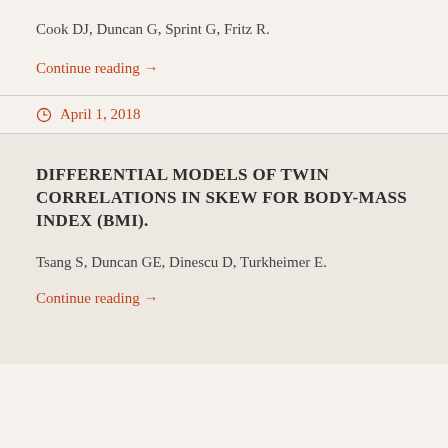Cook DJ, Duncan G, Sprint G, Fritz R.
Continue reading →
April 1, 2018
DIFFERENTIAL MODELS OF TWIN CORRELATIONS IN SKEW FOR BODY-MASS INDEX (BMI).
Tsang S, Duncan GE, Dinescu D, Turkheimer E.
Continue reading →